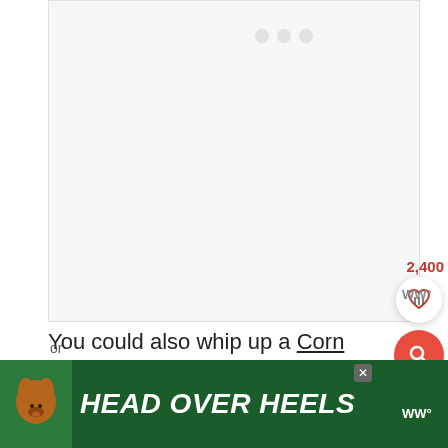[Figure (photo): Large light gray image placeholder area]
2,400
You could also whip up a Corn Bread Salad!
[Figure (other): Advertisement banner with dog image and HEAD OVER HEELS text on dark green background]